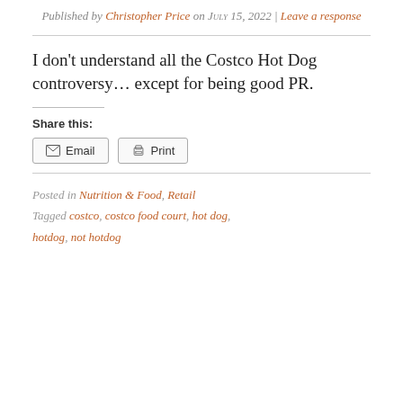Published by Christopher Price on July 15, 2022 | Leave a response
I don't understand all the Costco Hot Dog controversy… except for being good PR.
Share this:
Email  Print
Posted in Nutrition & Food, Retail
Tagged costco, costco food court, hot dog, hotdog, not hotdog